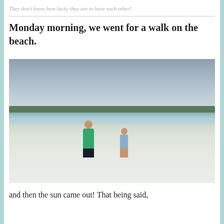They don't know how lucky they are to have each other!
Monday morning, we went for a walk on the beach.
[Figure (photo): Two people (an adult in a green t-shirt and black shorts, and a child in a blue dress) walking on a wide, flat beach with shallow water, cloudy sky overhead and a distant treeline on the horizon.]
and then the sun came out! That being said,